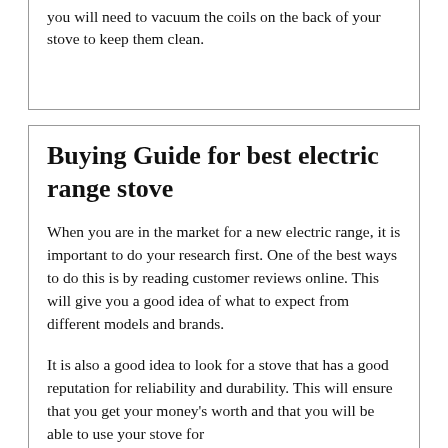you will need to vacuum the coils on the back of your stove to keep them clean.
Buying Guide for best electric range stove
When you are in the market for a new electric range, it is important to do your research first. One of the best ways to do this is by reading customer reviews online. This will give you a good idea of what to expect from different models and brands.
It is also a good idea to look for a stove that has a good reputation for reliability and durability. This will ensure that you get your money's worth and that you will be able to use your stove for